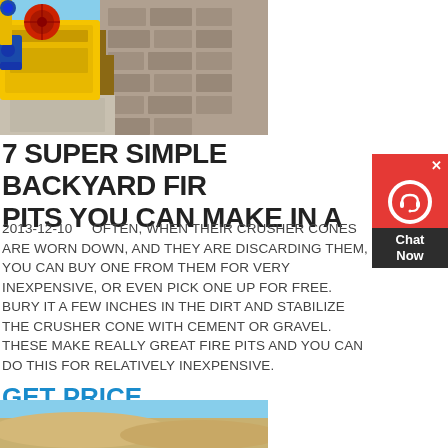[Figure (photo): Yellow industrial crusher/jaw crusher machine with red wheel mounted on concrete blocks outdoors with stone wall in background and blue sky.]
7 SUPER SIMPLE BACKYARD FIRE PITS YOU CAN MAKE IN A
2013-12-10   OFTEN, WHEN THEIR CRUSHER CONES ARE WORN DOWN, AND THEY ARE DISCARDING THEM, YOU CAN BUY ONE FROM THEM FOR VERY INEXPENSIVE, OR EVEN PICK ONE UP FOR FREE. BURY IT A FEW INCHES IN THE DIRT AND STABILIZE THE CRUSHER CONE WITH CEMENT OR GRAVEL. THESE MAKE REALLY GREAT FIRE PITS AND YOU CAN DO THIS FOR RELATIVELY INEXPENSIVE.
GET PRICE
[Figure (photo): Sandy desert/quarry landscape with blue sky in background.]